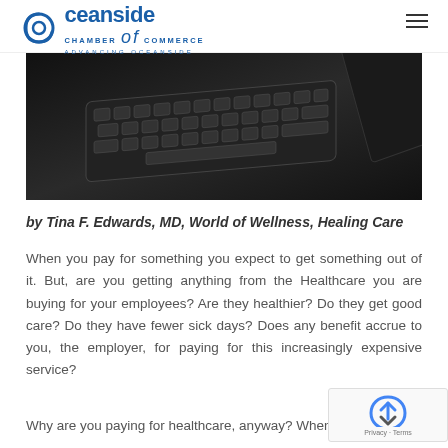Oceanside Chamber of Commerce — Advancing Oceanside
[Figure (photo): Close-up photo of a black keyboard/tablet on a dark background]
by Tina F. Edwards, MD, World of Wellness, Healing Care
When you pay for something you expect to get something out of it. But, are you getting anything from the Healthcare you are buying for your employees? Are they healthier? Do they get good care? Do they have fewer sick days? Does any benefit accrue to you, the employer, for paying for this increasingly expensive service?
Why are you paying for healthcare, anyway? When did